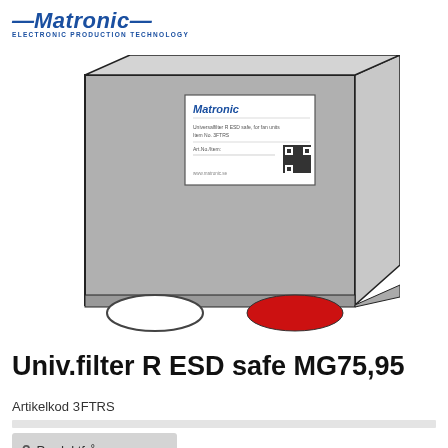Matronic — Electronic Production Technology
[Figure (illustration): Product illustration of a rectangular ESD-safe filter box (grey), shown in perspective view with a product label/QR code sticker on the front face, a white oval on the bottom-left, and a red oval on the bottom-right.]
Univ.filter R ESD safe MG75,95
Artikelkod 3FTRS
Produktfråga